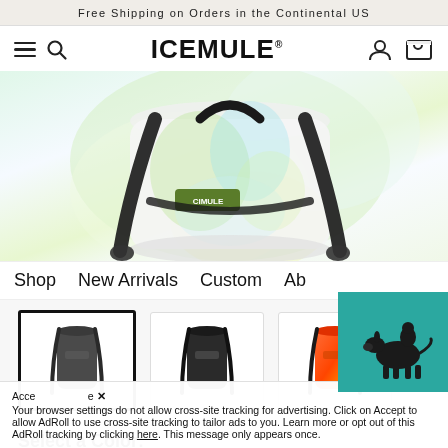Free Shipping on Orders in the Continental US
[Figure (screenshot): ICEMULE website navigation bar with hamburger menu, search icon, ICEMULE brand logo, user account icon, and cart icon]
[Figure (photo): ICEMULE branded backpack cooler product hero image showing a light-colored watercolor pattern bag with black straps against a light background]
Shop  New Arrivals  Custom  Ab
[Figure (photo): Three product thumbnail images: first selected (dark/slate gray backpack cooler), second (black/dark backpack cooler), third (red/orange tie-dye backpack cooler)]
Select a Color:
Devoe
Your browser settings do not allow cross-site tracking for advertising. Click on Accept to allow AdRoll to use cross-site tracking to tailor ads to you. Learn more or opt out of this AdRoll tracking by clicking here. This message only appears once.